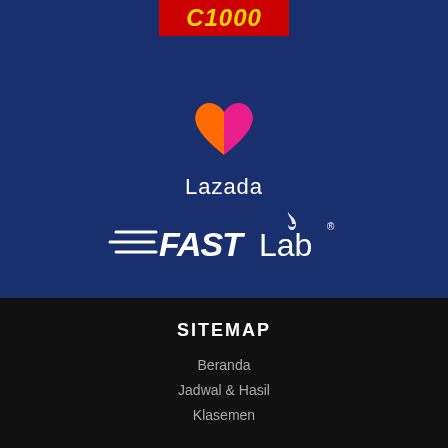[Figure (logo): C1000 logo with yellow text on red banner background]
[Figure (logo): Lazada logo with orange-pink heart icon above white 'Lazada' text]
[Figure (logo): FASTLab logo in white with speed lines on dark blue background]
SITEMAP
Beranda
Jadwal & Hasil
Klasemen